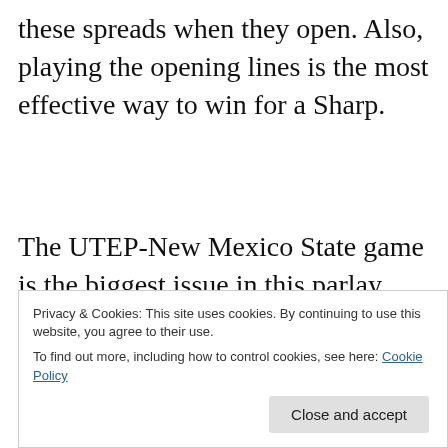these spreads when they open. Also, playing the opening lines is the most effective way to win for a Sharp.
The UTEP-New Mexico State game is the biggest issue in this parlay. One axiom that older Sharps believe in is not to rely on a
Privacy & Cookies: This site uses cookies. By continuing to use this website, you agree to their use.
To find out more, including how to control cookies, see here: Cookie Policy
Aggies are really weak and should be an